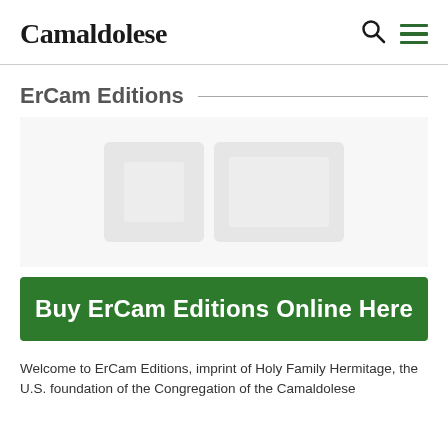Camaldolese
ErCam Editions
[Figure (illustration): Faded placeholder image area for ErCam Editions product imagery]
Buy ErCam Editions Online Here
Welcome to ErCam Editions, imprint of Holy Family Hermitage, the U.S. foundation of the Congregation of the Camaldolese